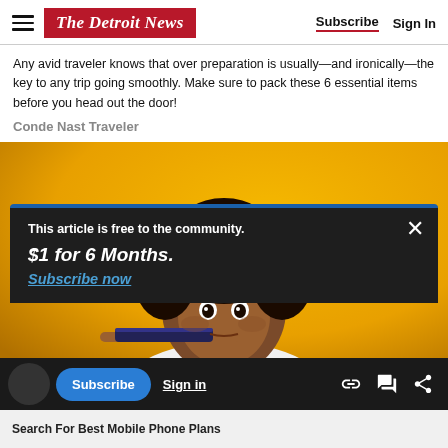The Detroit News | Subscribe | Sign In
Any avid traveler knows that over preparation is usually—and ironically—the key to any trip going smoothly. Make sure to pack these 6 essential items before you head out the door!
Conde Nast Traveler
[Figure (photo): Woman with curly hair peeking over a book/passport against a yellow/orange background]
This article is free to the community.
$1 for 6 Months.
Subscribe now
Search For Best Mobile Phone Plans